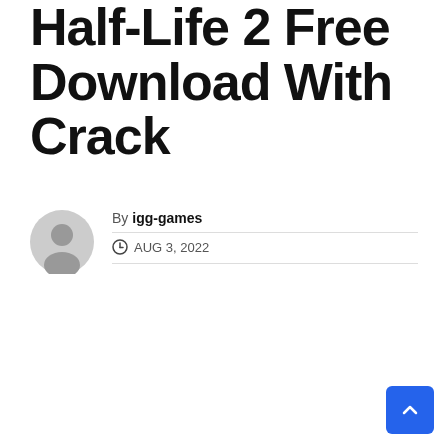Half-Life 2 Free Download With Crack
By igg-games
AUG 3, 2022